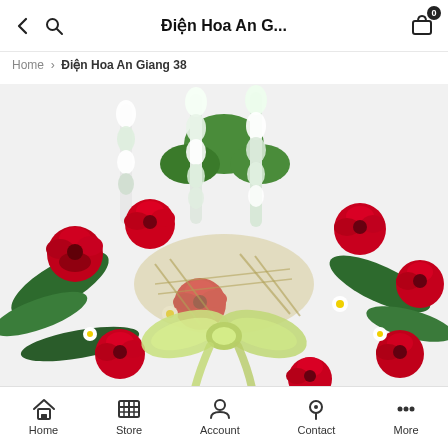Điện Hoa An G...
Home > Điện Hoa An Giang 38
[Figure (photo): A flower basket arrangement with red roses, white snapdragons, white daisies, green foliage, and a light green satin ribbon bow, on a white background.]
Home  Store  Account  Contact  More